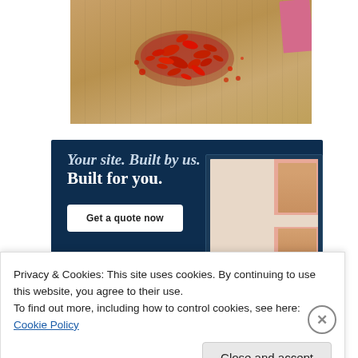[Figure (photo): Chopped dried red chili peppers on a wooden cutting board, with a pink knife visible at the top right corner.]
[Figure (illustration): Advertisement banner with dark navy blue background reading 'Your site. Built by us. Built for you.' with a 'Get a quote now' button and a mock website screenshot showing fashion models.]
Privacy & Cookies: This site uses cookies. By continuing to use this website, you agree to their use.
To find out more, including how to control cookies, see here: Cookie Policy
Close and accept